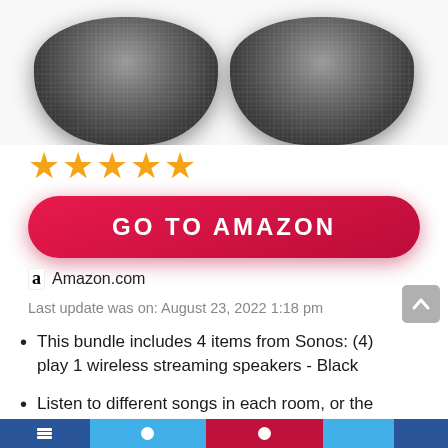[Figure (photo): Two black Sonos Play:1 wireless speakers side by side, partially cropped at top]
★★★★★
GO TO AMAZON
Amazon.com
Last update was on: August 23, 2022 1:18 pm
This bundle includes 4 items from Sonos: (4) play 1 wireless streaming speakers - Black
Listen to different songs in each room, or the same song in all rooms